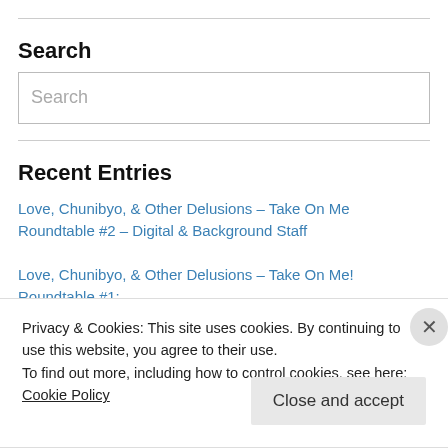Search
[Figure (screenshot): Search input box with placeholder text 'Search']
Recent Entries
Love, Chunibyo, & Other Delusions – Take On Me Roundtable #2 – Digital & Background Staff
Love, Chunibyo, & Other Delusions – Take On Me! Roundtable #1:
Privacy & Cookies: This site uses cookies. By continuing to use this website, you agree to their use.
To find out more, including how to control cookies, see here: Cookie Policy
Close and accept